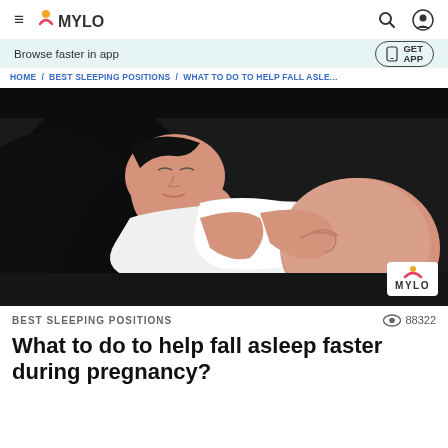≡ MYLO [search] [user]
Browse faster in app  GET APP
HOME / BEST SLEEPING POSITIONS / WHAT TO DO TO HELP FALL ASLE...
[Figure (photo): Pregnant woman in white clothing reclining with eyes closed against a dark background, hands resting on her belly. MYLO watermark in bottom right.]
BEST SLEEPING POSITIONS   👁 88322
What to do to help fall asleep faster during pregnancy?